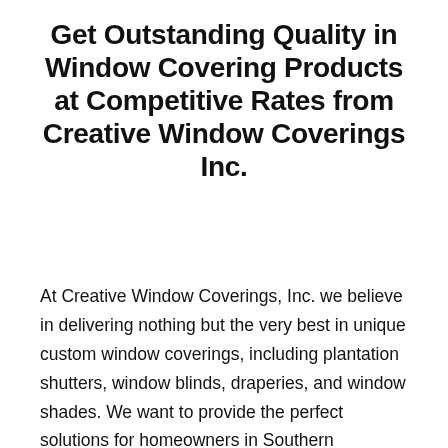Get Outstanding Quality in Window Covering Products at Competitive Rates from Creative Window Coverings Inc.
At Creative Window Coverings, Inc. we believe in delivering nothing but the very best in unique custom window coverings, including plantation shutters, window blinds, draperies, and window shades. We want to provide the perfect solutions for homeowners in Southern California, and deliver our custom interior window treatments at competitive prices on all window coverings, custom draperies, roller shades, window shades, window blinds, and plantation shutters.